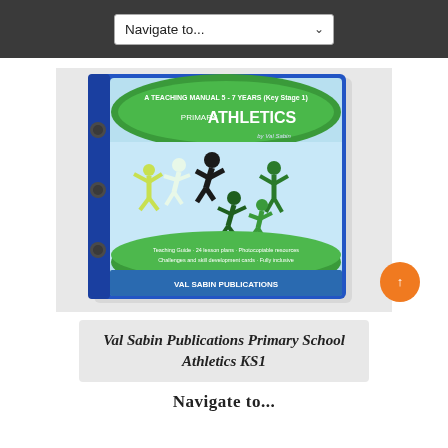Navigate to...
[Figure (photo): Photo of a blue ring-binder book titled 'Primary Athletics - A Teaching Manual 5-7 Years (Key Stage 1)' by Val Sabin, published by Val Sabin Publications. The cover shows silhouette figures of children running and jumping on a green and light blue background. Text on cover includes: Teaching Guide, 24 lesson plans, Photocopiable resources, Challenges and skill development cards, Fully inclusive.]
Val Sabin Publications Primary School Athletics KS1
Navigation/partial text at bottom of page